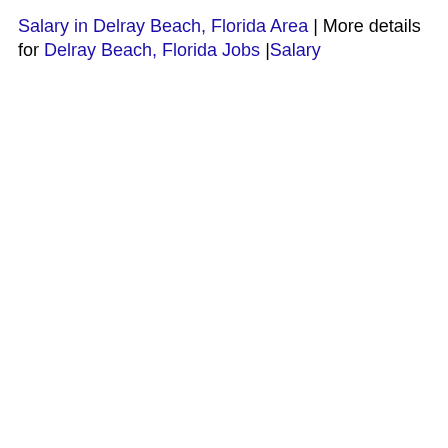Salary in Delray Beach, Florida Area | More details for Delray Beach, Florida Jobs |Salary